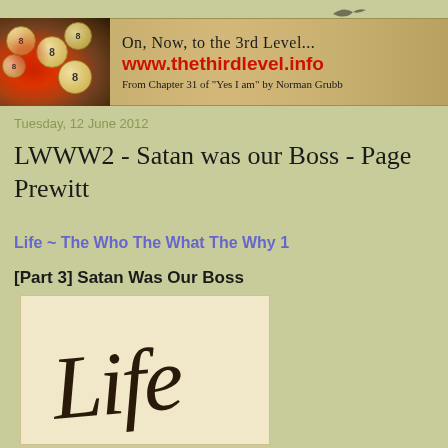[Figure (illustration): Website banner with decorative number balls and text 'On, Now, to the 3rd Level... www.thethirdlevel.info From Chapter 31 of Yes I am by Norman Grubb']
Tuesday, 12 June 2012
LWWW2 - Satan was our Boss - Page Prewitt
Life ~ The Who The What The Why 1
[Part 3] Satan Was Our Boss
[Figure (photo): Vintage cream-colored background with cursive handwritten word 'Life' in dark brown script]